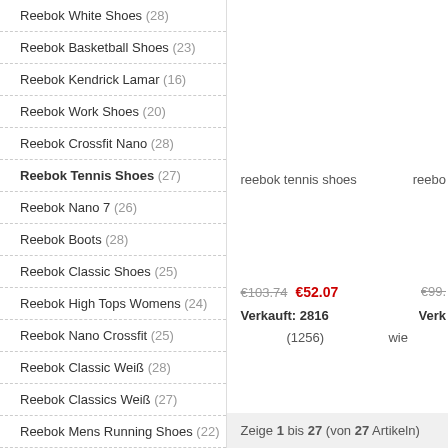Reebok White Shoes (28)
Reebok Basketball Shoes (23)
Reebok Kendrick Lamar (16)
Reebok Work Shoes (20)
Reebok Crossfit Nano (28)
Reebok Tennis Shoes (27) [active/bold]
Reebok Nano 7 (26)
Reebok Boots (28)
Reebok Classic Shoes (25)
Reebok High Tops Womens (24)
Reebok Nano Crossfit (25)
Reebok Classic Weiß (28)
Reebok Classics Weiß (27)
Reebok Mens Running Shoes (22)
Reebok Nano 6 (17)
Reebok Floatride (19)
reebok tennis shoes
reebo
€103.74  €52.07
€99.
Verkauft: 2816
Verk
(1256)
wie
Zeige 1 bis 27 (von 27 Artikeln)